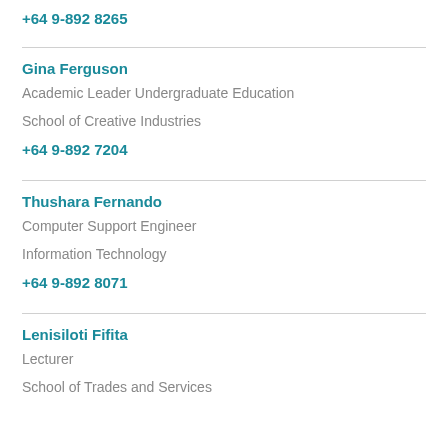+64 9-892 8265
Gina Ferguson
Academic Leader Undergraduate Education
School of Creative Industries
+64 9-892 7204
Thushara Fernando
Computer Support Engineer
Information Technology
+64 9-892 8071
Lenisiloti Fifita
Lecturer
School of Trades and Services